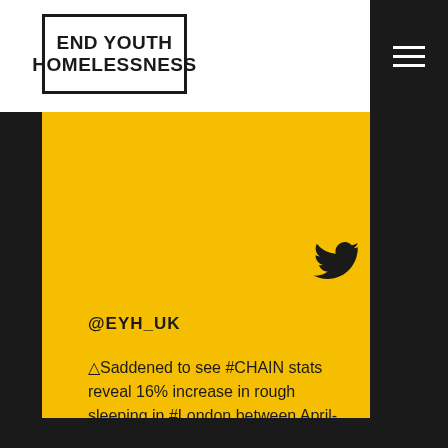[Figure (logo): End Youth Homelessness logo — bold black text in bordered box]
@EYH_UK
△Saddened to see #CHAIN stats reveal 16% increase in rough sleeping in #London between April-June - many for the f... https://t.co/ILtXVwjgPP